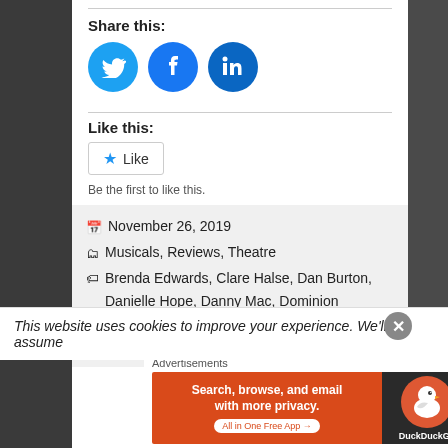Share this:
[Figure (illustration): Three social media share buttons: Twitter (blue bird), Facebook (blue f), LinkedIn (blue in)]
Like this:
[Figure (screenshot): WordPress Like button with star icon]
Be the first to like this.
November 26, 2019
Musicals, Reviews, Theatre
Brenda Edwards, Clare Halse, Dan Burton, Danielle Hope, Danny Mac, Dominion Theatre, Emma Clarendon, Michael Brandon, Nikolai
This website uses cookies to improve your experience. We'll assume
Advertisements
[Figure (infographic): DuckDuckGo advertisement banner: Search, browse, and email with more privacy. All in One Free App]